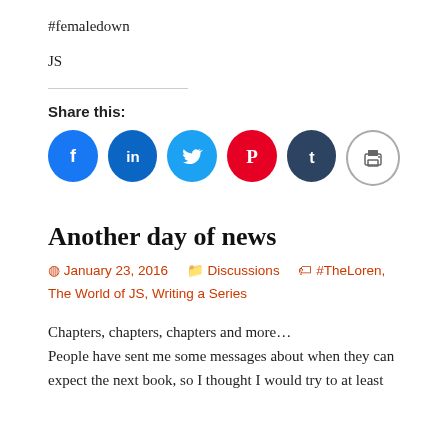#femaledown
JS
Share this:
[Figure (infographic): Row of six social share icon circles: Facebook (blue), LinkedIn (blue), Twitter (light blue), Pinterest (red), Tumblr (dark navy), Print (grey outline)]
Another day of news
January 23, 2016   Discussions   #TheLoren, The World of JS, Writing a Series
Chapters, chapters, chapters and more…
People have sent me some messages about when they can expect the next book, so I thought I would try to at least